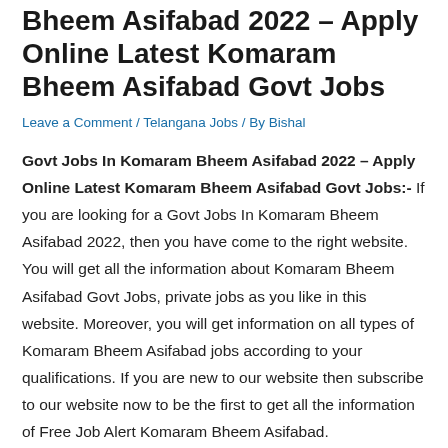Bheem Asifabad 2022 – Apply Online Latest Komaram Bheem Asifabad Govt Jobs
Leave a Comment / Telangana Jobs / By Bishal
Govt Jobs In Komaram Bheem Asifabad 2022 – Apply Online Latest Komaram Bheem Asifabad Govt Jobs:- If you are looking for a Govt Jobs In Komaram Bheem Asifabad 2022, then you have come to the right website. You will get all the information about Komaram Bheem Asifabad Govt Jobs, private jobs as you like in this website. Moreover, you will get information on all types of Komaram Bheem Asifabad jobs according to your qualifications. If you are new to our website then subscribe to our website now to be the first to get all the information of Free Job Alert Komaram Bheem Asifabad.